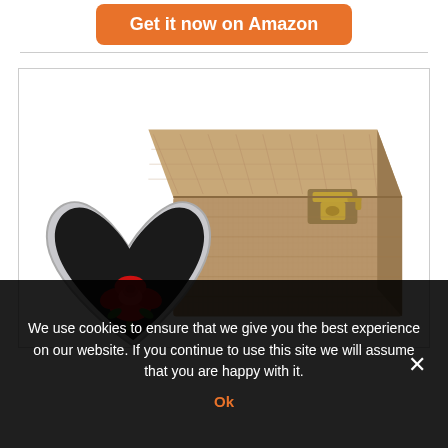Get it now on Amazon
[Figure (photo): Product photo showing a wooden keepsake box with a brass latch, alongside an open heart-shaped mirrored case containing a red rose.]
We use cookies to ensure that we give you the best experience on our website. If you continue to use this site we will assume that you are happy with it.
Ok